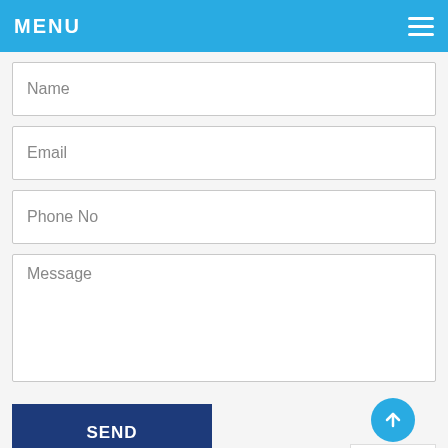MENU
Name
Email
Phone No
Message
SEND
Privacy · Terms